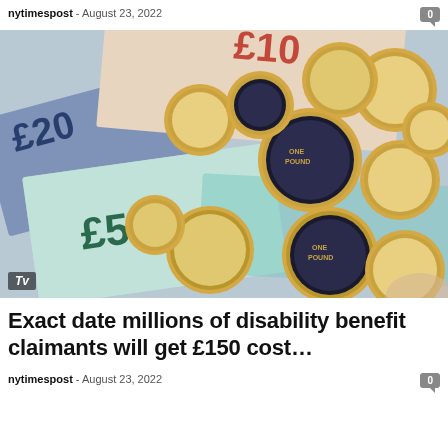nytimespost - August 23, 2022
[Figure (photo): Pile of British pound coins and banknotes including £5, £10, and £20 notes with a 'Tv' badge overlay in the bottom left corner.]
Exact date millions of disability benefit claimants will get £150 cost…
nytimespost - August 23, 2022